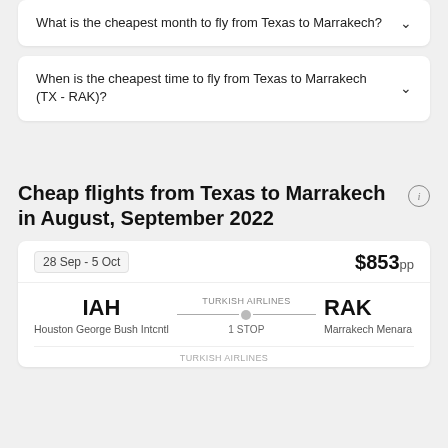What is the cheapest month to fly from Texas to Marrakech?
When is the cheapest time to fly from Texas to Marrakech (TX - RAK)?
Cheap flights from Texas to Marrakech in August, September 2022
28 Sep - 5 Oct
$853pp
IAH
Houston George Bush Intcntl
TURKISH AIRLINES
1 STOP
RAK
Marrakech Menara
TURKISH AIRLINES